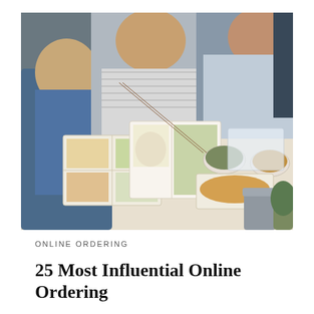[Figure (photo): Overhead view of several people eating Asian takeout food from bento boxes and bowls spread on a white table, using chopsticks. Multiple containers of food including rice, vegetables, fried items, and dumplings are visible.]
ONLINE ORDERING
25 Most Influential Online Ordering